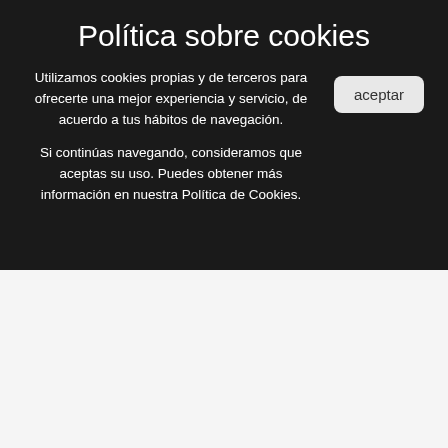Política sobre cookies
Utilizamos cookies propias y de terceros para ofrecerte una mejor experiencia y servicio, de acuerdo a tus hábitos de navegación.
Si continúas navegando, consideramos que aceptas su uso. Puedes obtener más información en nuestra Política de Cookies.
[Figure (photo): Close-up of a black 3D printer nozzle with a red laser dot illuminating the print surface below it, on a white background.]
Removable Nozzle